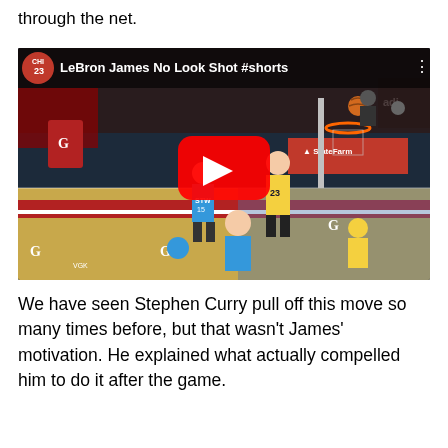through the net.
[Figure (screenshot): YouTube video thumbnail/embed showing a basketball game. Title: 'LeBron James No Look Shot #shorts'. Shows NBA basketball court with players including LeBron James (#23) in a yellow Lakers uniform, opposing players in blue uniforms, a red YouTube play button in the center, and a State Farm advertisement banner visible.]
We have seen Stephen Curry pull off this move so many times before, but that wasn't James' motivation. He explained what actually compelled him to do it after the game.